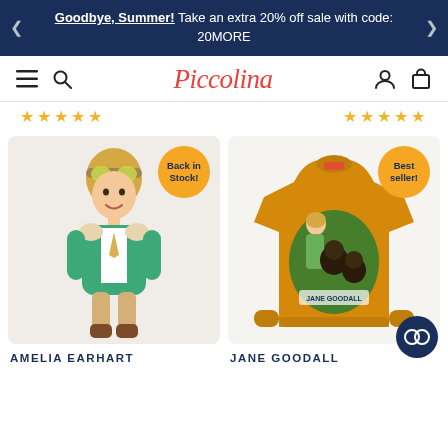Goodbye, Summer! Take an extra 20% off sale with code: 20MORE
[Figure (logo): Piccolina brand logo in red cursive script with hamburger menu, search, user, and cart icons in navigation bar]
[Figure (photo): Amelia Earhart cloth doll with green jacket, yellow hair, aviator goggles, brown boots. Badge reads 'Back in Stock!']
[Figure (photo): Jane Goodall mustard yellow sweatshirt with illustrated graphic of Jane Goodall and animals. Badge reads 'Best seller!']
AMELIA EARHART
JANE GOODALL